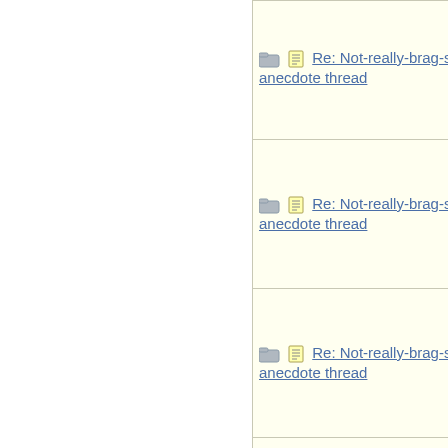| Subject | Author |
| --- | --- |
| Re: Not-really-brag-so-much-as-quirky-anecdote thread | aeh |
| Re: Not-really-brag-so-much-as-quirky-anecdote thread | NotherBe |
| Re: Not-really-brag-so-much-as-quirky-anecdote thread | KJP |
| Re: Not-really-brag-so-much-as-quirky-anecdote thread | Dude |
| Re: Not-really-brag-so-much-as-quirky-anecdote thread | aquinas |
| Re: Not-really-brag-so-much-as-quirky-anecdote thread | Tigerle |
| Re: Not-really-brag-so-much-as-quirky-anecdote thread | aquinas |